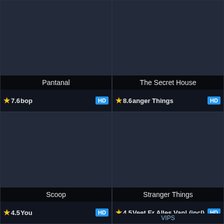[Figure (screenshot): Streaming service UI showing 4 media cards in a 2x2 grid. Top-left: Pantanal (rating 7.6, HD). Top-right: The Secret House (rating 8.6, HD). Bottom-left: Scoop (rating 4.5, HD). Bottom-right: Stranger Things (rating 4.5, HD, overlay text 'Veet Er Alles Van! (incl) VIPS').]